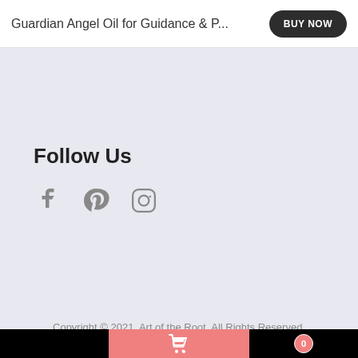Guardian Angel Oil for Guidance & P...
Follow Us
[Figure (illustration): Social media icons: Facebook, Pinterest, Instagram in gray color]
Copyright © 2021, Art of the Root. All Rights Reserved.
[Figure (screenshot): Mobile bottom navigation bar with black background on left and right, pink/salmon center with shopping cart icon, and a circular badge with 0 on the right side]